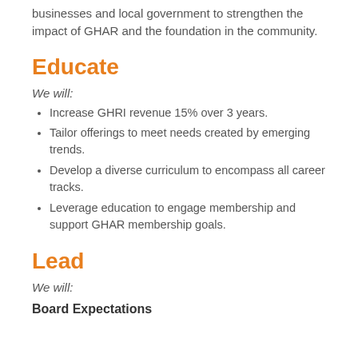businesses and local government to strengthen the impact of GHAR and the foundation in the community.
Educate
We will:
Increase GHRI revenue 15% over 3 years.
Tailor offerings to meet needs created by emerging trends.
Develop a diverse curriculum to encompass all career tracks.
Leverage education to engage membership and support GHAR membership goals.
Lead
We will:
Board Expectations